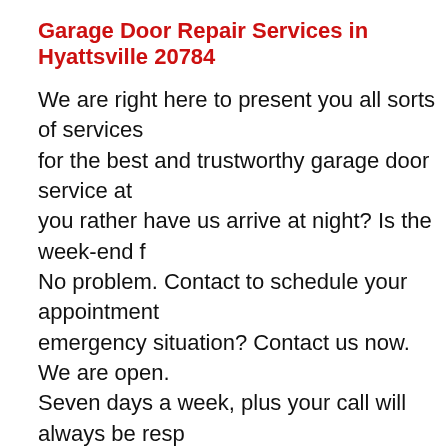Garage Door Repair Services in Hyattsville 20784
We are right here to present you all sorts of services for the best and trustworthy garage door service at you rather have us arrive at night? Is the week-end f No problem. Contact to schedule your appointment emergency situation? Contact us now. We are open. Seven days a week, plus your call will always be resp person. Call us now and be part of our own big list of working with our staff you can be relax that we will p earliest opportunity, without having any further cha your specific location. Annandale Garage Door Repai techs that are well equipped with the proper tool-ki be able to serve you once they arrive there. We ope all around Hyattsville 20784. Services: Low Rate Gara Garage Door Services, Overhead Doors, Garage Door Replacement Garage Door, Cheap Garage Door Serv Accessories, Gate Repair, Full-view Aluminum Garage